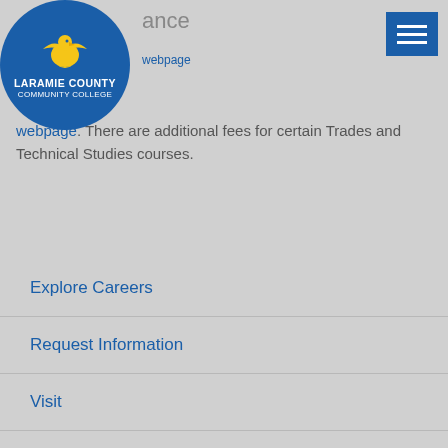[Figure (logo): Laramie County Community College logo - blue circle with yellow eagle and white text]
ance
webpage. There are additional fees for certain Trades and Technical Studies courses.
Explore Careers
Request Information
Visit
Apply